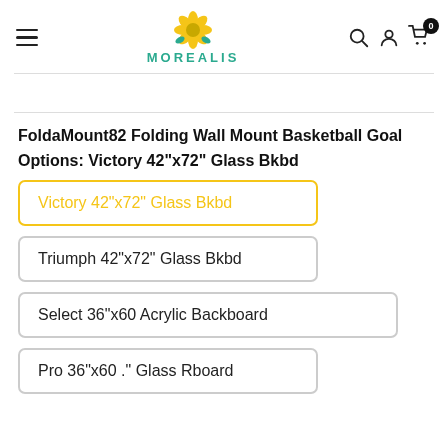MOREALIS — navigation header with hamburger menu, logo, search, account, and cart icons
FoldaMount82 Folding Wall Mount Basketball Goal
Options: Victory 42"x72" Glass Bkbd
Victory 42"x72" Glass Bkbd (selected)
Triumph 42"x72" Glass Bkbd
Select 36"x60 Acrylic Backboard
Pro 36"x60 ." Glass Rboard